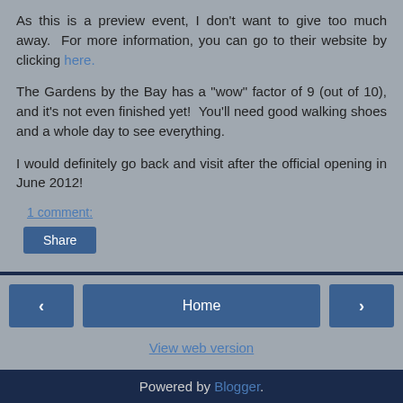As this is a preview event, I don't want to give too much away.  For more information, you can go to their website by clicking here.
The Gardens by the Bay has a "wow" factor of 9 (out of 10), and it's not even finished yet!  You'll need good walking shoes and a whole day to see everything.
I would definitely go back and visit after the official opening in June 2012!
1 comment:
Share
Home
View web version
Powered by Blogger.